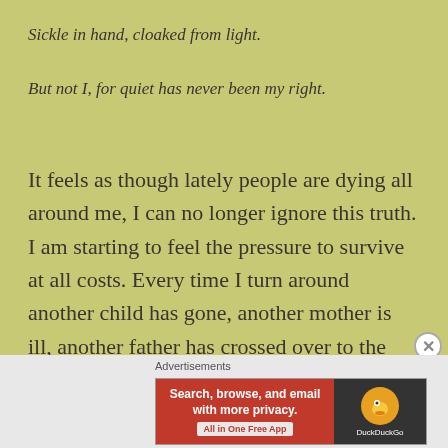Sickle in hand, cloaked from light.
But not I, for quiet has never been my right.
It feels as though lately people are dying all around me, I can no longer ignore this truth. I am starting to feel the pressure to survive at all costs. Every time I turn around another child has gone, another mother is ill, another father has crossed over to the other side. Some I learn from phone calls or social media and others because I was there, my hands unable to help. It has brought me to fully understand
Advertisements